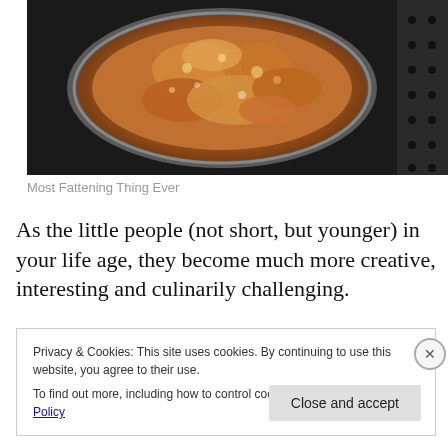[Figure (photo): Food frying in a deep pan or fryer basket, golden brown battered pieces in hot oil, viewed from above. Metal frying basket with perforations visible.]
Most Fattening Thing Ever
As the little people (not short, but younger) in your life age, they become much more creative, interesting and culinarily challenging.
Privacy & Cookies: This site uses cookies. By continuing to use this website, you agree to their use.
To find out more, including how to control cookies, see here: Cookie Policy